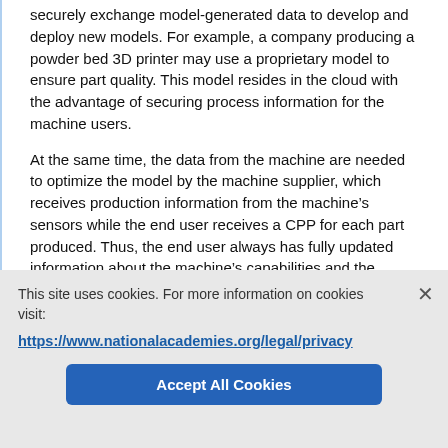securely exchange model-generated data to develop and deploy new models. For example, a company producing a powder bed 3D printer may use a proprietary model to ensure part quality. This model resides in the cloud with the advantage of securing process information for the machine users.
At the same time, the data from the machine are needed to optimize the model by the machine supplier, which receives production information from the machine's sensors while the end user receives a CPP for each part produced. Thus, the end user always has fully updated information about the machine's capabilities and the machine supplier always has an updated model using data directly from the machine. This scenario is
This site uses cookies. For more information on cookies visit:
https://www.nationalacademies.org/legal/privacy
Accept All Cookies